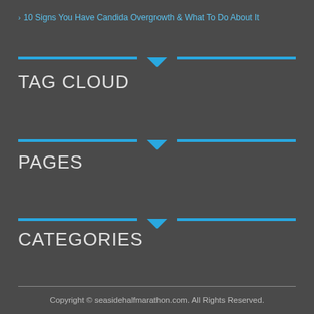10 Signs You Have Candida Overgrowth & What To Do About It
TAG CLOUD
PAGES
CATEGORIES
Copyright © seasidehalfmarathon.com. All Rights Reserved.